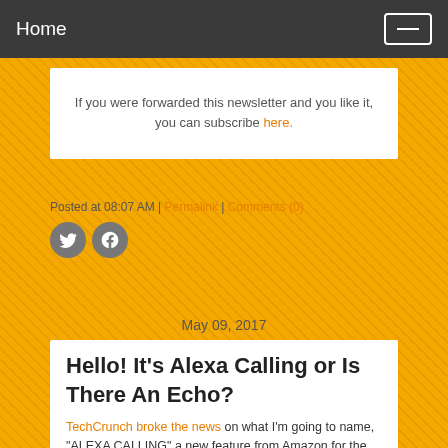Home
If you were forwarded this newsletter and you like it, you can subscribe here.
Posted at 08:07 AM | Permalink | Comments (0)
May 09, 2017
Hello! It's Alexa Calling or Is There An Echo?
TechCrunch broke the news on what I'm going to name, "ALEXA CALLING" a new feature from Amazon for the Echo line of digital assistants. Now a few hours later the service is up and running.